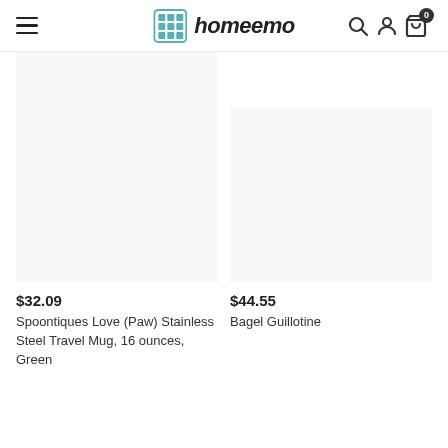homeemo
$32.09
Spoontiques Love (Paw) Stainless Steel Travel Mug, 16 ounces, Green
$44.55
Bagel Guillotine